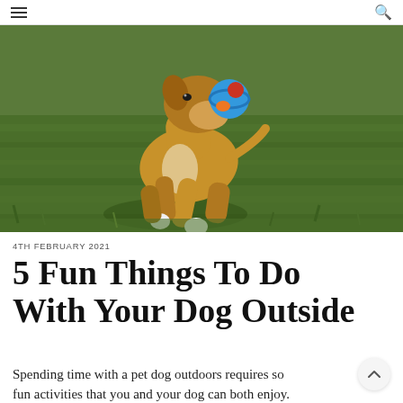☰  🔍
[Figure (photo): A tan/fawn boxer dog running on green grass, carrying a colorful ball (blue, red, orange) in its mouth, photographed in bright sunlight.]
4TH FEBRUARY 2021
5 Fun Things To Do With Your Dog Outside
Spending time with a pet dog outdoors requires some fun activities that you and your dog can both enjoy.